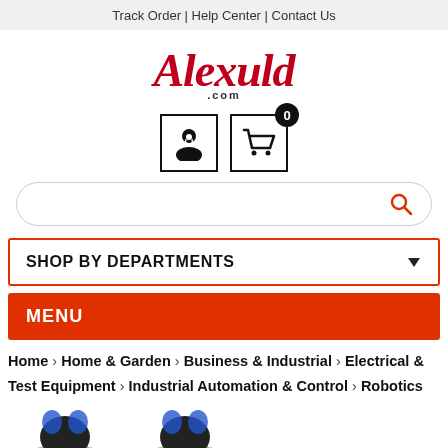Track Order | Help Center | Contact Us
[Figure (logo): Alexuld.com logo in red cursive/italic script]
[Figure (infographic): User account icon and shopping cart icon with badge showing 0 items]
[Figure (infographic): Search bar with red search icon]
SHOP BY DEPARTMENTS
MENU
Home > Home & Garden > Business & Industrial > Electrical & Test Equipment > Industrial Automation & Control > Robotics
[Figure (photo): Product images of robotics items partially visible at bottom]